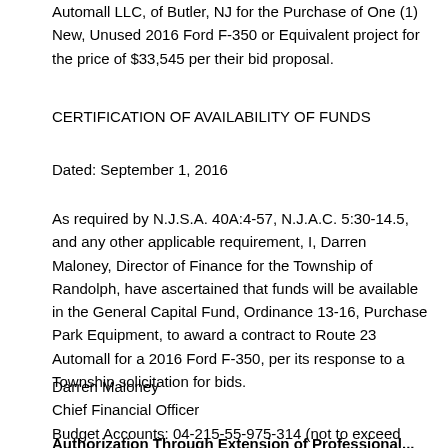Automall LLC, of Butler, NJ for the Purchase of One (1) New, Unused 2016 Ford F-350 or Equivalent project for the price of $33,545 per their bid proposal.
CERTIFICATION OF AVAILABILITY OF FUNDS
Dated: September 1, 2016
As required by N.J.S.A. 40A:4-57, N.J.A.C. 5:30-14.5, and any other applicable requirement, I, Darren Maloney, Director of Finance for the Township of Randolph, have ascertained that funds will be available in the General Capital Fund, Ordinance 13-16, Purchase Park Equipment, to award a contract to Route 23 Automall for a 2016 Ford F-350, per its response to a Township solicitation for bids.
Darren Maloney
Chief Financial Officer
Budget Accounts: 04-215-55-975-314 (not to exceed $33,545)
Authorization Through Extension of Professional...